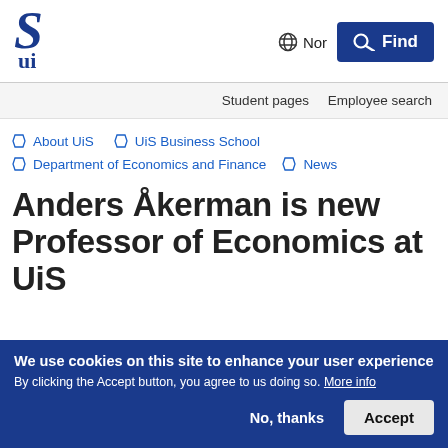[Figure (logo): UiS (University of Stavanger) logo — stylized S and U in dark blue]
Nor
Find
Student pages   Employee search
About UiS
UiS Business School
Department of Economics and Finance
News
Anders Åkerman is new Professor of Economics at UiS
We use cookies on this site to enhance your user experience
By clicking the Accept button, you agree to us doing so. More info
No, thanks
Accept